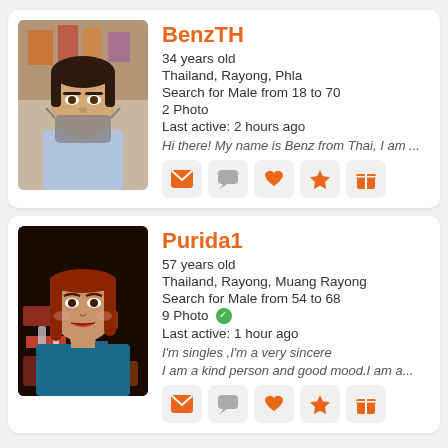[Figure (photo): Profile photo of BenzTH, a Thai woman wearing a face mask around her chin, taking a selfie]
BenzTH
34 years old
Thailand, Rayong, Phla
Search for Male from 18 to 70
2 Photo
Last active: 2 hours ago
Hi there! My name is Benz from Thai, I am ...
[Figure (photo): Profile photo of Purida1, a Thai woman with reddish-brown hair, smiling, wearing a blue top]
Purida1
57 years old
Thailand, Rayong, Muang Rayong
Search for Male from 54 to 68
9 Photo ✓
Last active: 1 hour ago
I'm singles ,I'm a very sincere
I am a kind person and good mood.I am a...